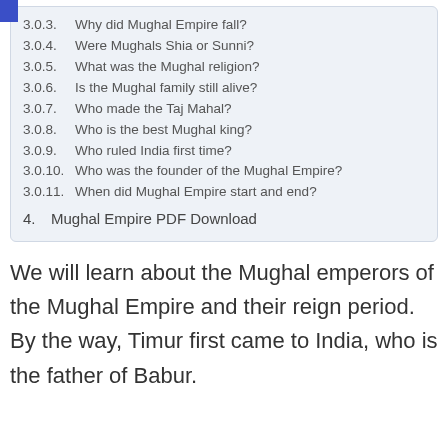3.0.3. Why did Mughal Empire fall?
3.0.4. Were Mughals Shia or Sunni?
3.0.5. What was the Mughal religion?
3.0.6. Is the Mughal family still alive?
3.0.7. Who made the Taj Mahal?
3.0.8. Who is the best Mughal king?
3.0.9. Who ruled India first time?
3.0.10. Who was the founder of the Mughal Empire?
3.0.11. When did Mughal Empire start and end?
4. Mughal Empire PDF Download
We will learn about the Mughal emperors of the Mughal Empire and their reign period. By the way, Timur first came to India, who is the father of Babur.